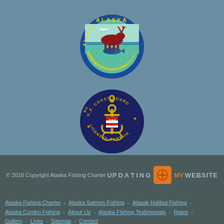[Figure (logo): Alaska Department of Fish and Game circular seal with moose, bird, and fish on teal/green background with blue border and yellow text]
[Figure (logo): U.S. Coast Guard Licensed Captain circular seal with anchor, shield with stars and stripes, on dark navy blue background with yellow text and stars]
© 2018 Copyright Alaska Fishing Charter
[Figure (logo): Updating My Website branding logo with orange square icon]
Alaska Fishing Charter - Alaska Salmon Fishing - Alasak Halibut Fishing - Alaska Combo Fishing - About Us - Alaska Fishing Testimonials - Rates - Gallery - Links - Sitemap - Contact